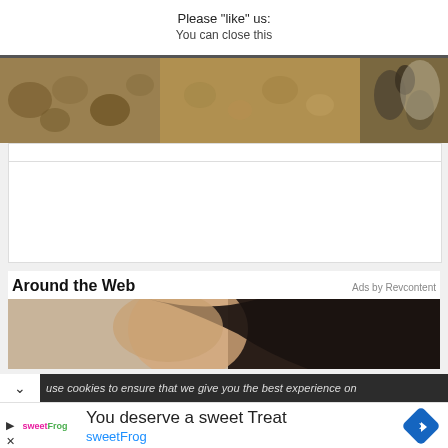Please "like" us:
You can close this
[Figure (photo): Food/snack image strip showing dried fruit, nuts and grains spread on a surface]
[Figure (photo): White empty advertisement placeholder box]
Around the Web
Ads by Revcontent
[Figure (photo): Partial photo of a person's face/head, dark hair visible against beige background]
use cookies to ensure that we give you the best experience on
You deserve a sweet Treat
sweetFrog